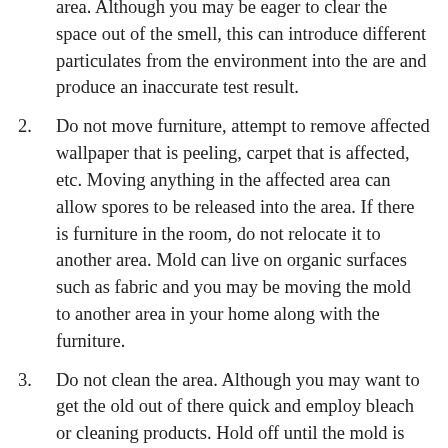area. Although you may be eager to clear the space out of the smell, this can introduce different particulates from the environment into the are and produce an inaccurate test result.
2. Do not move furniture, attempt to remove affected wallpaper that is peeling, carpet that is affected, etc. Moving anything in the affected area can allow spores to be released into the area. If there is furniture in the room, do not relocate it to another area. Mold can live on organic surfaces such as fabric and you may be moving the mold to another area in your home along with the furniture.
3. Do not clean the area. Although you may want to get the old out of there quick and employ bleach or cleaning products. Hold off until the mold is tested and you are told what type of